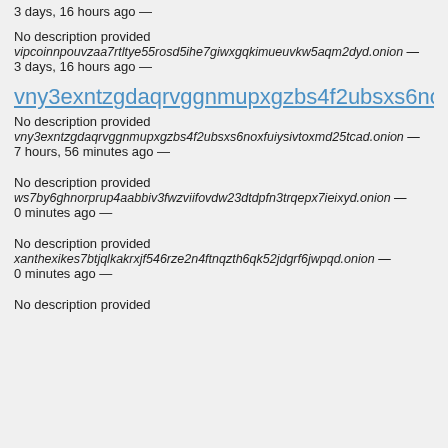3 days, 16 hours ago —
No description provided
vipcoinnpouvzaa7rtltye55rosd5ihe7giwxgqkimueuvkw5aqm2dyd.onion — 3 days, 16 hours ago —
vny3exntzgdaqrvggnmupxgzbs4f2ubsxs6noxfuiys
No description provided
vny3exntzgdaqrvggnmupxgzbs4f2ubsxs6noxfuiysivtoxmd25tcad.onion — 7 hours, 56 minutes ago —
No description provided
ws7by6ghnorprup4aabbiv3fwzviifovdw23dtdpfn3trqepx7ieixyd.onion — 0 minutes ago —
No description provided
xanthexikes7btjqlkakrxjf546rze2n4ftnqzth6qk52jdgrf6jwpqd.onion — 0 minutes ago —
No description provided